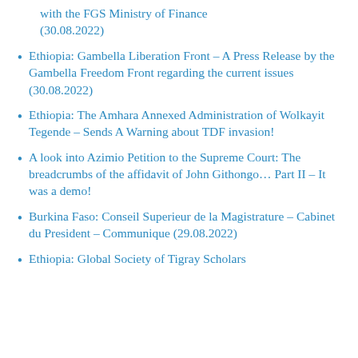with the FGS Ministry of Finance (30.08.2022)
Ethiopia: Gambella Liberation Front – A Press Release by the Gambella Freedom Front regarding the current issues (30.08.2022)
Ethiopia: The Amhara Annexed Administration of Wolkayit Tegende – Sends A Warning about TDF invasion!
A look into Azimio Petition to the Supreme Court: The breadcrumbs of the affidavit of John Githongo… Part II – It was a demo!
Burkina Faso: Conseil Superieur de la Magistrature – Cabinet du President – Communique (29.08.2022)
Ethiopia: Global Society of Tigray Scholars